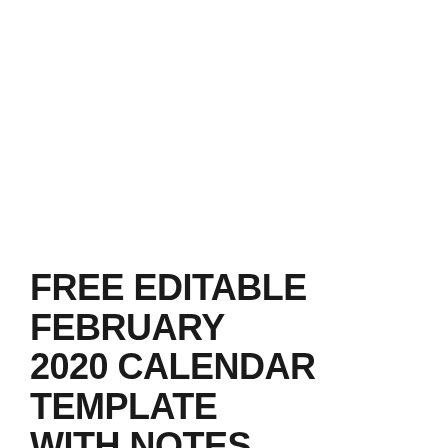FREE EDITABLE FEBRUARY 2020 CALENDAR TEMPLATE WITH NOTES
SandyHook | January 11, 2020 | 2020 Calendar | No Comments